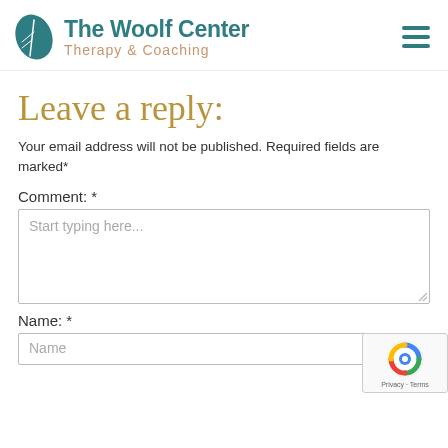[Figure (logo): The Woolf Center Therapy & Coaching logo with a teal leaf icon]
Leave a reply:
Your email address will not be published. Required fields are marked*
Comment: *
Start typing here...
Name: *
Name